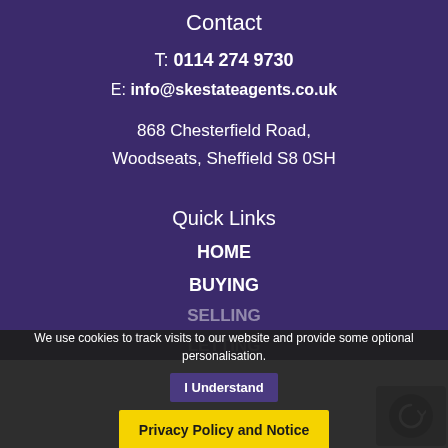Contact
T: 0114 274 9730
E: info@skestateagents.co.uk
868 Chesterfield Road,
Woodseats, Sheffield S8 0SH
Quick Links
HOME
BUYING
SELLING
LETTING
ABOUT US
We use cookies to track visits to our website and provide some optional personalisation.
I Understand
Privacy Policy and Notice